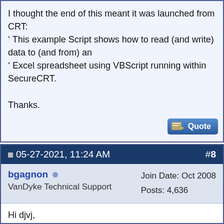I thought the end of this meant it was launched from CRT:
' This example Script shows how to read (and write) data to (and from) an
' Excel spreadsheet using VBScript running within SecureCRT.

Thanks.
05-27-2021, 11:24 AM  #8
bgagnon
VanDyke Technical Support
Join Date: Oct 2008
Posts: 4,636
Hi djvj,

Your statement was:

Quote: